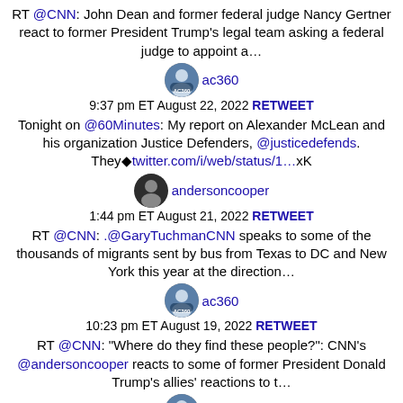RT @CNN: John Dean and former federal judge Nancy Gertner react to former President Trump's legal team asking a federal judge to appoint a…
[Figure (photo): Avatar of ac360 account with AC360 logo]
ac360
9:37 pm ET August 22, 2022 RETWEET
Tonight on @60Minutes: My report on Alexander McLean and his organization Justice Defenders, @justicedefends. They◆twitter.com/i/web/status/1…xK
[Figure (photo): Avatar of andersoncooper account]
andersoncooper
1:44 pm ET August 21, 2022 RETWEET
RT @CNN: .@GaryTuchmanCNN speaks to some of the thousands of migrants sent by bus from Texas to DC and New York this year at the direction…
[Figure (photo): Avatar of ac360 account with AC360 logo]
ac360
10:23 pm ET August 19, 2022 RETWEET
RT @CNN: "Where do they find these people?": CNN's @andersoncooper reacts to some of former President Donald Trump's allies' reactions to t…
[Figure (photo): Avatar of ac360 account with AC360 logo]
ac360
9:38 pm ET August 18, 2022 RETWEET